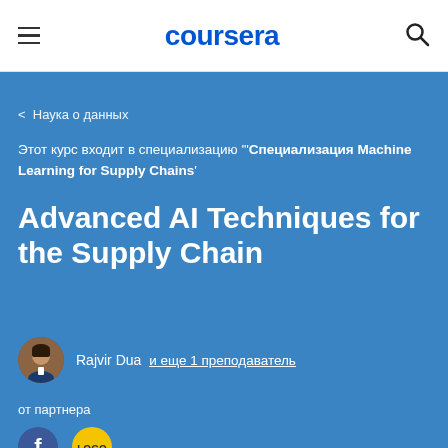coursera
< Наука о данных
Этот курс входит в специализацию '"Специализация Machine Learning for Supply Chains'
Advanced AI Techniques for the Supply Chain
Rajvir Dua  и еще 1 преподаватель
от партнера